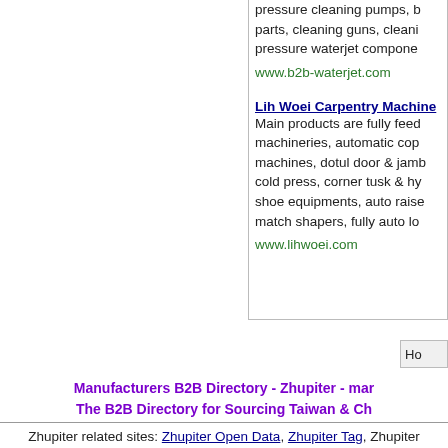pressure cleaning pumps, b parts, cleaning guns, cleani pressure waterjet compone
www.b2b-waterjet.com
Lih Woei Carpentry Machine
Main products are fully feed machineries, automatic cop machines, dotul door & jamb cold press, corner tusk & hy shoe equipments, auto raise match shapers, fully auto lo
www.lihwoei.com
Ho
Manufacturers B2B Directory - Zhupiter - mar The B2B Directory for Sourcing Taiwan & Ch
Zhupiter related sites: Zhupiter Open Data, Zhupiter Tag, Zhupiter Map, Company Info, QK Hot
(C